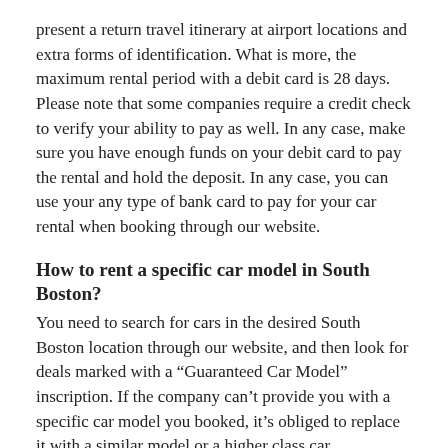present a return travel itinerary at airport locations and extra forms of identification. What is more, the maximum rental period with a debit card is 28 days. Please note that some companies require a credit check to verify your ability to pay as well. In any case, make sure you have enough funds on your debit card to pay the rental and hold the deposit. In any case, you can use your any type of bank card to pay for your car rental when booking through our website.
How to rent a specific car model in South Boston?
You need to search for cars in the desired South Boston location through our website, and then look for deals marked with a “Guaranteed Car Model” inscription. If the company can’t provide you with a specific car model you booked, it’s obliged to replace it with a similar model or a higher class car.
What car rental insurance do you need to rent a car in South Boston ?
You don't need rental car insurance when you pick up a car in South Boston. The car that you are renting is already included to